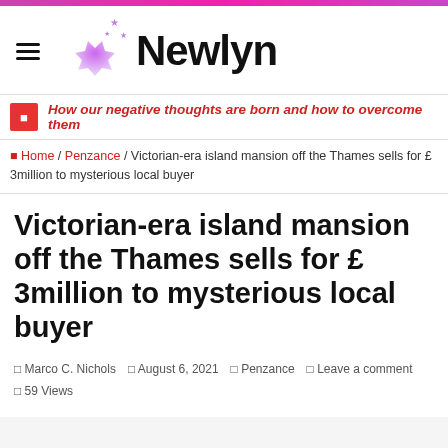Newlyn
How our negative thoughts are born and how to overcome them
Home / Penzance / Victorian-era island mansion off the Thames sells for £ 3million to mysterious local buyer
Victorian-era island mansion off the Thames sells for £ 3million to mysterious local buyer
Marco C. Nichols   August 6, 2021   Penzance   Leave a comment   59 Views